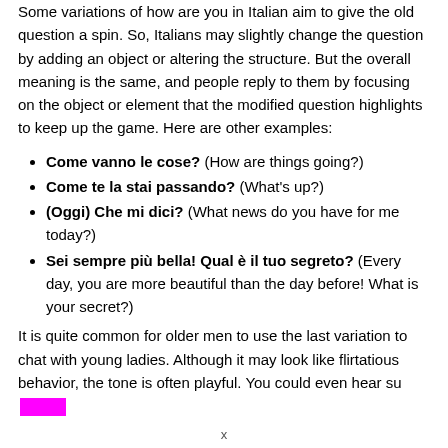Some variations of how are you in Italian aim to give the old question a spin. So, Italians may slightly change the question by adding an object or altering the structure. But the overall meaning is the same, and people reply to them by focusing on the object or element that the modified question highlights to keep up the game. Here are other examples:
Come vanno le cose? (How are things going?)
Come te la stai passando? (What's up?)
(Oggi) Che mi dici? (What news do you have for me today?)
Sei sempre più bella! Qual è il tuo segreto? (Every day, you are more beautiful than the day before! What is your secret?)
It is quite common for older men to use the last variation to chat with young ladies. Although it may look like flirtatious behavior, the tone is often playful. You could even hear su[redacted]
x